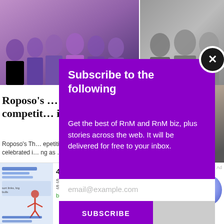[Figure (photo): Background photo showing a group of people at an event and a close-up of a man with glasses, partially visible behind a subscription modal overlay]
Roposo's … nging competit… ith…
Roposo's Th… epetition, celebrated i… ng as …
Radio and Musi…
[Figure (screenshot): Subscribe modal overlay on purple background with title 'Subscribe to the following', descriptive text, email input field and SUBSCRIBE button]
[Figure (screenshot): Bottom advertisement banner: '40% off Womens Clothing — Save 40% now on women clothing at Ashley Stewart — bit.ly' with arrow button and ad image]
40% off Womens Clothing
Save 40% now on women clothing at Ashley Stewart
bit.ly